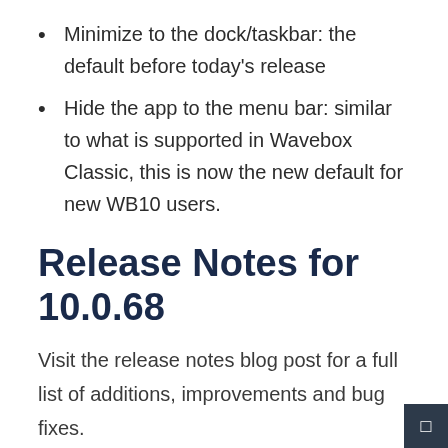Minimize to the dock/taskbar: the default before today's release
Hide the app to the menu bar: similar to what is supported in Wavebox Classic, this is now the new default for new WB10 users.
Release Notes for 10.0.68
Visit the release notes blog post for a full list of additions, improvements and bug fixes.
https://blog.wavebox.io/version-10-0-68-released/
Improvements include an update to the latest